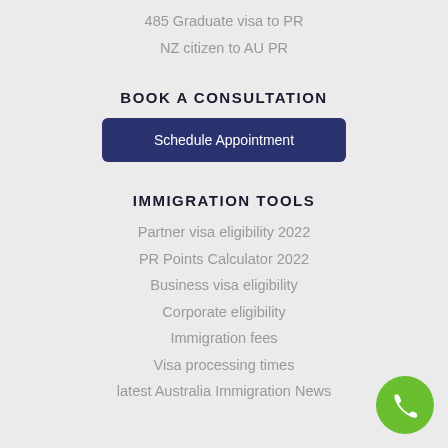485 Graduate visa to PR
NZ citizen to AU PR
BOOK A CONSULTATION
Schedule Appointment
IMMIGRATION TOOLS
Partner visa eligibility 2022
PR Points Calculator 2022
Business visa eligibility
Corporate eligibility
Immigration fees
Visa processing times
latest Australia Immigration News
[Figure (illustration): Green circular phone button icon in bottom right corner]